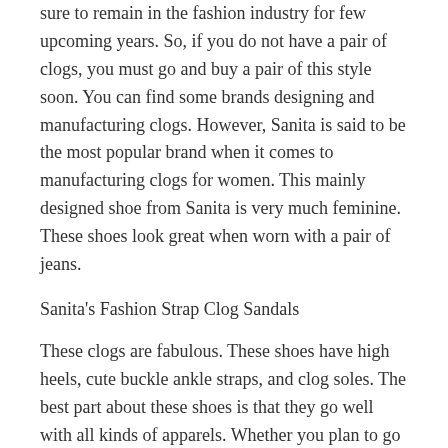sure to remain in the fashion industry for few upcoming years. So, if you do not have a pair of clogs, you must go and buy a pair of this style soon. You can find some brands designing and manufacturing clogs. However, Sanita is said to be the most popular brand when it comes to manufacturing clogs for women. This mainly designed shoe from Sanita is very much feminine. These shoes look great when worn with a pair of jeans.
Sanita's Fashion Strap Clog Sandals
These clogs are fabulous. These shoes have high heels, cute buckle ankle straps, and clog soles. The best part about these shoes is that they go well with all kinds of apparels. Whether you plan to go where these shoes with skinny jeans or with a skirt or cute dress, these shoes compliment almost any type of outfit.